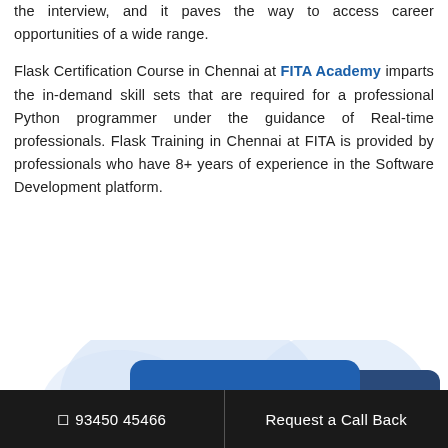the interview, and it paves the way to access career opportunities of a wide range.
Flask Certification Course in Chennai at FITA Academy imparts the in-demand skill sets that are required for a professional Python programmer under the guidance of Real-time professionals. Flask Training in Chennai at FITA is provided by professionals who have 8+ years of experience in the Software Development platform.
[Figure (illustration): Illustration showing chat/messaging interface elements with blue rounded rectangles and white circles (dots), set against light blue cloud-like background shapes]
93450 45466 | Request a Call Back